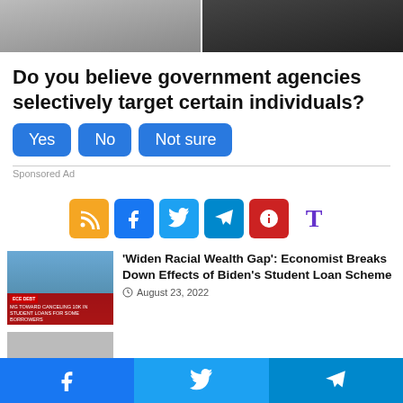[Figure (photo): Two cropped photos side by side at the top of the page]
Do you believe government agencies selectively target certain individuals?
Yes
No
Not sure
Sponsored Ad
[Figure (infographic): Social media share icons: RSS, Facebook, Twitter, Telegram, Info, T]
[Figure (photo): News thumbnail showing a woman on TV news set with chyron about student loans]
'Widen Racial Wealth Gap': Economist Breaks Down Effects of Biden's Student Loan Scheme
August 23, 2022
Facebook  Twitter  Telegram